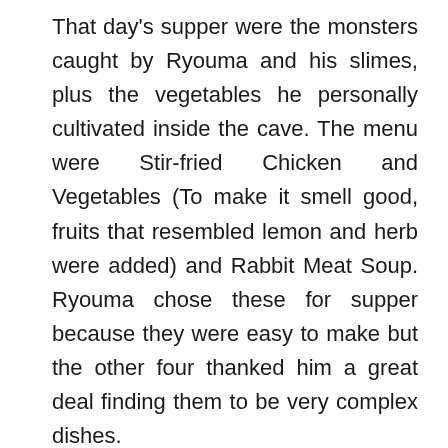That day's supper were the monsters caught by Ryouma and his slimes, plus the vegetables he personally cultivated inside the cave. The menu were Stir-fried Chicken and Vegetables (To make it smell good, fruits that resembled lemon and herb were added) and Rabbit Meat Soup. Ryouma chose these for supper because they were easy to make but the other four thanked him a great deal finding them to be very complex dishes.
That day the five men all slept at Ryouma's place. They were planning to leave after the next day but Hyuzu's recovery was faster than expected. In order to make sure he was clear headed they decided to leave tomorrow morning before lunch.